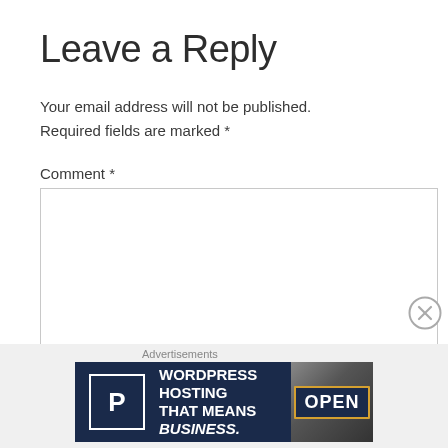Leave a Reply
Your email address will not be published. Required fields are marked *
Comment *
[Figure (screenshot): Empty comment textarea input box with border]
Advertisements
[Figure (infographic): WordPress Hosting advertisement banner: dark navy background with 'P' logo, text 'WORDPRESS HOSTING THAT MEANS BUSINESS.' and an OPEN sign image on the right]